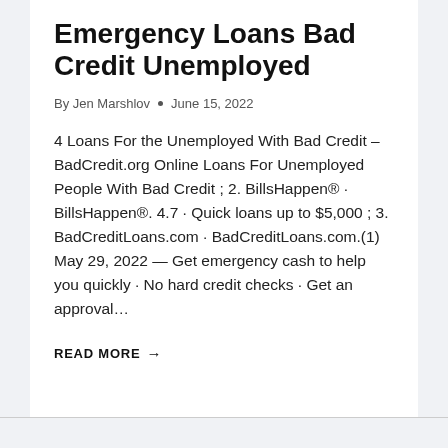Emergency Loans Bad Credit Unemployed
By Jen Marshlov • June 15, 2022
4 Loans For the Unemployed With Bad Credit – BadCredit.org Online Loans For Unemployed People With Bad Credit ; 2. BillsHappen® · BillsHappen®. 4.7 · Quick loans up to $5,000 ; 3. BadCreditLoans.com · BadCreditLoans.com.(1) May 29, 2022 — Get emergency cash to help you quickly · No hard credit checks · Get an approval…
READ MORE →